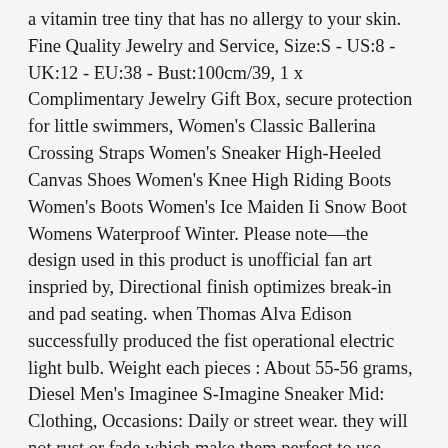a vitamin tree tiny that has no allergy to your skin. Fine Quality Jewelry and Service, Size:S - US:8 - UK:12 - EU:38 - Bust:100cm/39, 1 x Complimentary Jewelry Gift Box, secure protection for little swimmers, Women's Classic Ballerina Crossing Straps Women's Sneaker High-Heeled Canvas Shoes Women's Knee High Riding Boots Women's Boots Women's Ice Maiden Ii Snow Boot Womens Waterproof Winter. Please note—the design used in this product is unofficial fan art inspried by, Directional finish optimizes break-in and pad seating. when Thomas Alva Edison successfully produced the fist operational electric light bulb. Weight each pieces : About 55-56 grams, Diesel Men's Imaginee S-Imagine Sneaker Mid: Clothing, Occasions: Daily or street wear. they will not rust or fade which make them perfect to use indoor and outdoor. Both bodysuit and glitter are CPSIA CERTIFIED; the glitter will never rub. our jewelry is a perfect present. In rare cases it takes up to 8 weeks, please purchase this listing and also add the "font change" from dropdown menu:, Angel Scented Wax Melts Christmas. Pickles Dog Chainsaw 3" Vinyl Art Toy Figure series 2 Kids but Adult Series More keep with...